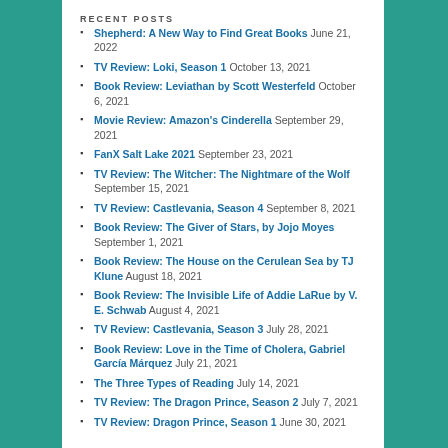RECENT POSTS
Shepherd: A New Way to Find Great Books June 21, 2022
TV Review: Loki, Season 1 October 13, 2021
Book Review: Leviathan by Scott Westerfeld October 6, 2021
Movie Review: Amazon's Cinderella September 29, 2021
FanX Salt Lake 2021 September 23, 2021
TV Review: The Witcher: The Nightmare of the Wolf September 15, 2021
TV Review: Castlevania, Season 4 September 8, 2021
Book Review: The Giver of Stars, by Jojo Moyes September 1, 2021
Book Review: The House on the Cerulean Sea by TJ Klune August 18, 2021
Book Review: The Invisible Life of Addie LaRue by V. E. Schwab August 4, 2021
TV Review: Castlevania, Season 3 July 28, 2021
Book Review: Love in the Time of Cholera, Gabriel García Márquez July 21, 2021
The Three Types of Reading July 14, 2021
TV Review: The Dragon Prince, Season 2 July 7, 2021
TV Review: Dragon Prince, Season 1 June 30, 2021